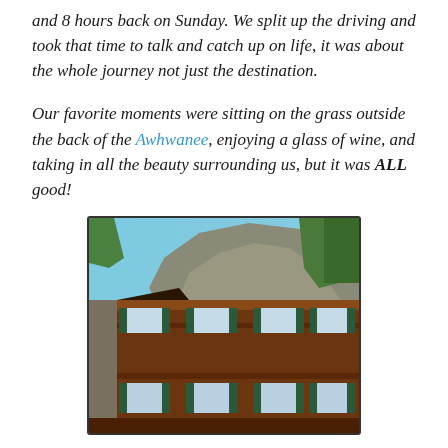and 8 hours back on Sunday. We split up the driving and took that time to talk and catch up on life, it was about the whole journey not just the destination.
Our favorite moments were sitting on the grass outside the back of the Awhwanee, enjoying a glass of wine, and taking in all the beauty surrounding us, but it was ALL good!
[Figure (photo): Photo of the Ahwahnee hotel building with wooden facade, green shuttered windows on two floors, stone column on left, and rocky mountain with trees visible above the roofline against a blue sky.]